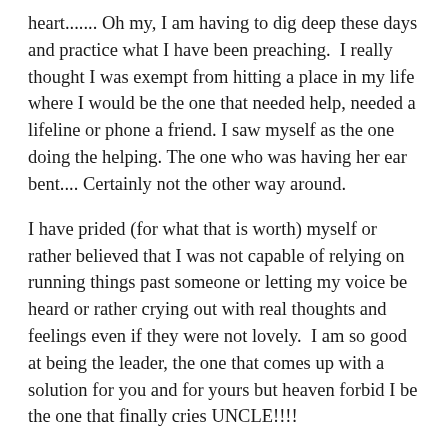heart....... Oh my, I am having to dig deep these days and practice what I have been preaching.  I really thought I was exempt from hitting a place in my life where I would be the one that needed help, needed a lifeline or phone a friend. I saw myself as the one doing the helping. The one who was having her ear bent.... Certainly not the other way around.
I have prided (for what that is worth) myself or rather believed that I was not capable of relying on running things past someone or letting my voice be heard or rather crying out with real thoughts and feelings even if they were not lovely.  I am so good at being the leader, the one that comes up with a solution for you and for yours but heaven forbid I be the one that finally cries UNCLE!!!!
While joyful, thankful, happy, peaceful and all those things are my status quo....  I find that due to just real life events, death, rehab, death again, business